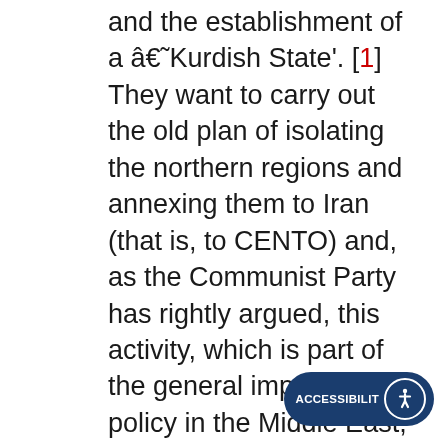and the establishment of a â€˜Kurdish State'. [1] They want to carry out the old plan of isolating the northern regions and annexing them to Iran (that is, to CENTO) and, as the Communist Party has rightly argued, this activity, which is part of the general imperialist policy in the Middle East, has created a serious and dangerous situation in Iraq.
Thus, instead of supporting the Kurdish uprising, the Iraqi Communist Party contented itself with “calling on the Qassem government to resolve the crisis in northern Iraq peacefully” and “in a way that will strengthen the unity